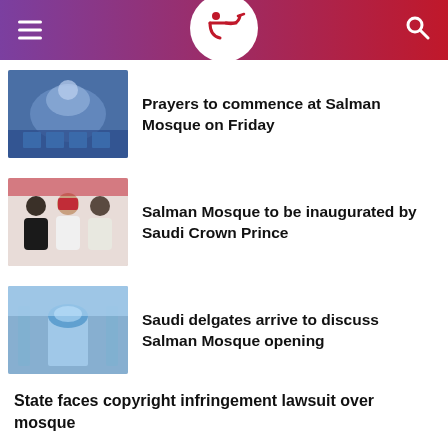News app header with logo
Prayers to commence at Salman Mosque on Friday
Salman Mosque to be inaugurated by Saudi Crown Prince
Saudi delgates arrive to discuss Salman Mosque opening
State faces copyright infringement lawsuit over mosque